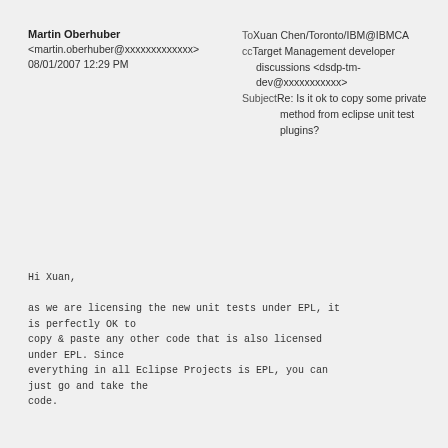Martin Oberhuber
<martin.oberhuber@xxxxxxxxxxxxx>
08/01/2007 12:29 PM
To	Xuan Chen/Toronto/IBM@IBMCA
cc	Target Management developer discussions <dsdp-tm-dev@xxxxxxxxxxx>
Subject	Re: Is it ok to copy some private method from eclipse unit test plugins?
Hi Xuan,

as we are licensing the new unit tests under EPL, it is perfectly OK to
copy & paste any other code that is also licensed under EPL. Since
everything in all Eclipse Projects is EPL, you can just go and take the
code.